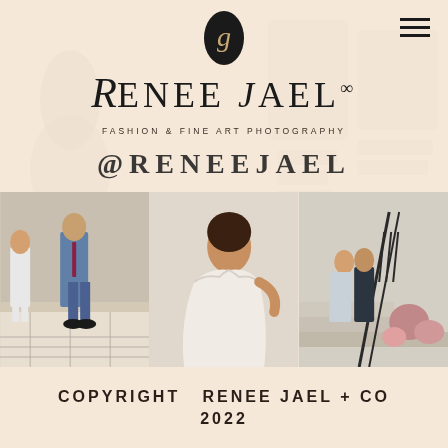[Figure (logo): Oval black logo with stylized letter J/G monogram]
RENEE JAEL ∞
FASHION & FINE ART PHOTOGRAPHY
@RENEEJAEL
[Figure (photo): Three-panel photo grid: left panel shows couple seated, center panel shows bride in white off-shoulder gown, right panel shows couple on staircase with flowers]
COPYRIGHT  RENEE JAEL + CO
2022